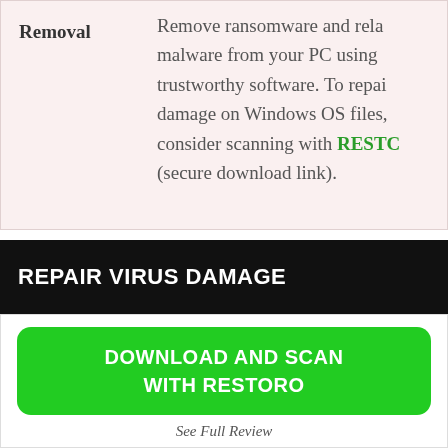Removal — Remove ransomware and related malware from your PC using trustworthy software. To repair damage on Windows OS files, consider scanning with RESTORO (secure download link).
REPAIR VIRUS DAMAGE
[Figure (other): Green button with white text: DOWNLOAD AND SCAN WITH RESTORO]
See Full Review
Scan your system for FREE to detect security, hardware and stability issues. You can use the scan results and try to remove threats manually, or you